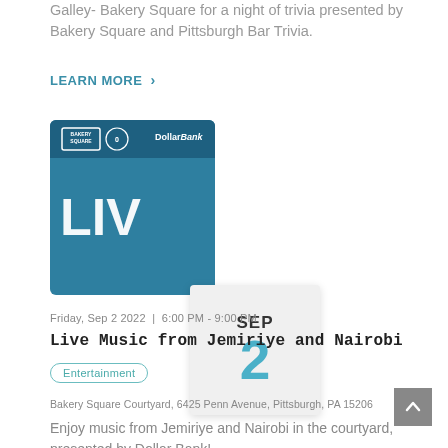Galley- Bakery Square for a night of trivia presented by Bakery Square and Pittsburgh Bar Trivia.
LEARN MORE >
[Figure (illustration): Event promotional image with Bakery Square and Dollar Bank logos, blue background with 'LIVE' text, overlaid with a calendar popup showing SEP 2 in teal/dark colors]
Friday, Sep 2 2022 | 6:00 PM - 9:00 PM
Live Music from Jemiriye and Nairobi
Entertainment
Bakery Square Courtyard, 6425 Penn Avenue, Pittsburgh, PA 15206
Enjoy music from Jemiriye and Nairobi in the courtyard, presented by Dollar Bank!